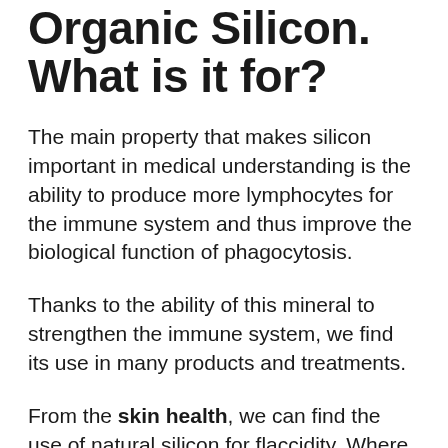Organic Silicon. What is it for?
The main property that makes silicon important in medical understanding is the ability to produce more lymphocytes for the immune system and thus improve the biological function of phagocytosis.
Thanks to the ability of this mineral to strengthen the immune system, we find its use in many products and treatments.
From the skin health, we can find the use of natural silicon for flaccidity. Where the skin is deteriorated and with a lack of tension, the properties of silicon allow a remarkable recovery.